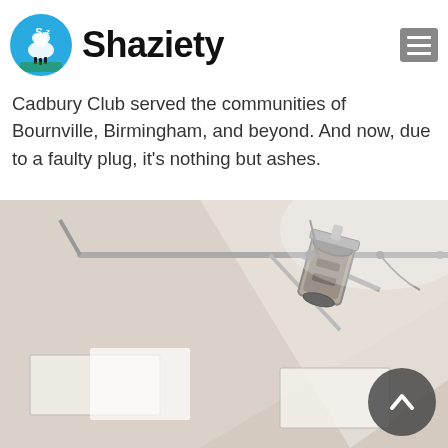Shaziety
watching boxing, to attending a wedding reception, and having a drink in the bar, the Cadbury Club served the communities of Bournville, Birmingham, and beyond. And now, due to a faulty plug, it's nothing but ashes.
[Figure (photo): Interior photo of a venue or club showing ceiling-mounted stage spotlights/par cans on a lighting rig, with recessed ceiling panels and a light-colored ceiling background.]